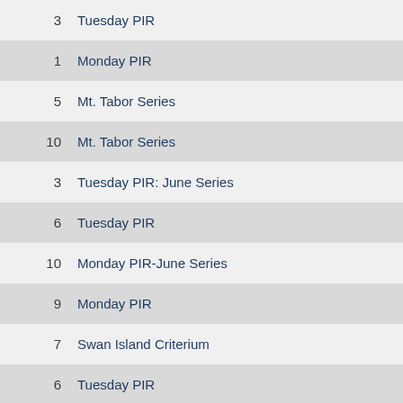3   Tuesday PIR
1   Monday PIR
5   Mt. Tabor Series
10  Mt. Tabor Series
3   Tuesday PIR: June Series
6   Tuesday PIR
10  Monday PIR-June Series
9   Monday PIR
7   Swan Island Criterium
6   Tuesday PIR
59  Elkhorn Classic Stage Race-Dooley Mountain Road Race
232 Elkhorn Classic Stage Race-Pleasant Valley ITT: Combined